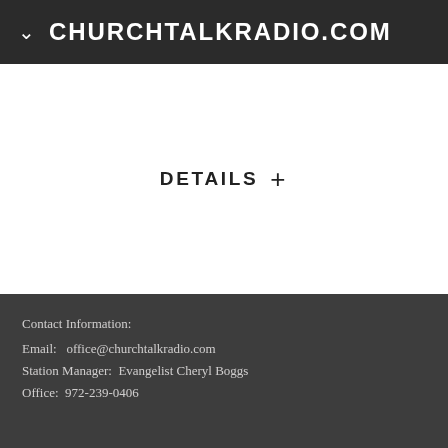CHURCHTALKRADIO.COM
DETAILS +
Contact Information:
Email:  office@churchtalkradio.com
Station Manager:  Evangelist Cheryl Boggs
Office:  972-239-0406